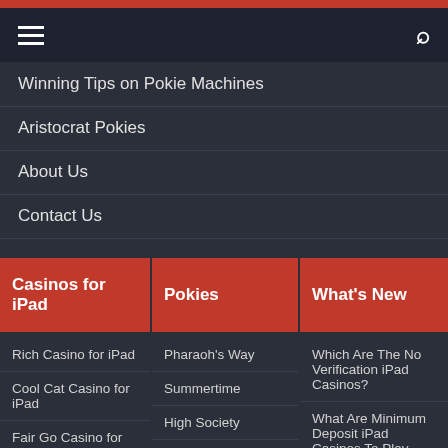Navigation bar with hamburger menu and search icon
Winning Tips on Pokie Machines
Aristocrat Pokies
About Us
Contact Us
Casinos for iPad
Rich Casino for iPad
Cool Cat Casino for iPad
Fair Go Casino for iPad
Pokies
Pharaoh's Way
Summertime
High Society
The Best Apps For iPad in 2021
What's New
Which Are The No Verification iPad Casinos?
What Are Minimum Deposit iPad Casinos To Play Pokies?
What Are The Best